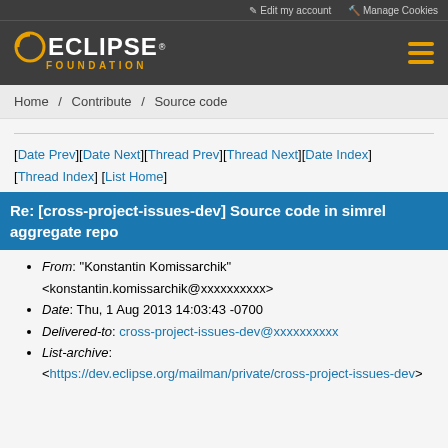Edit my account   Manage Cookies
[Figure (logo): Eclipse Foundation logo with orange crescent and white ECLIPSE text, FOUNDATION in orange letters below]
Home / Contribute / Source code
[Date Prev][Date Next][Thread Prev][Thread Next][Date Index][Thread Index] [List Home]
Re: [cross-project-issues-dev] Source code in simrel aggregate repo
From: "Konstantin Komissarchik" <konstantin.komissarchik@xxxxxxxxxx>
Date: Thu, 1 Aug 2013 14:03:43 -0700
Delivered-to: cross-project-issues-dev@xxxxxxxxxx
List-archive: <https://dev.eclipse.org/mailman/private/cross-project-issues-dev>